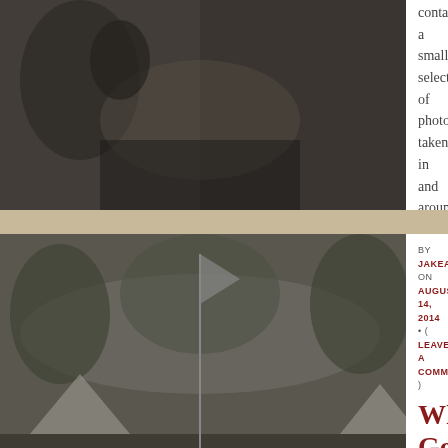[Figure (photo): Black and white historical photograph, partially visible, dark tones]
containing a small selection of photos taken in and around Victoria, BC during the First World War. The album contains no clues as to the identity […]
[Figure (photo): Black and white historical photograph of a large group of WWI volunteers/soldiers assembled outdoors, with tents and trees in background, flag visible]
BY JAKEALOO ON AUGUST 14, 2014 • ( LEAVE A COMMENT )
Who Goes There? Kitchener's New Army
When this group of volunteers, the majority of whom are wearing civilian clothes, were photographed is unknown. The image is not sharp enough to reveal the cap badge on the officer standing […]
[Figure (photo): Black and white historical photograph, partially visible at bottom of page, dark tones]
BY JAKEALOO ON JULY 24, 2014 • ( LEAVE A COMMENT )
Who Goes There?